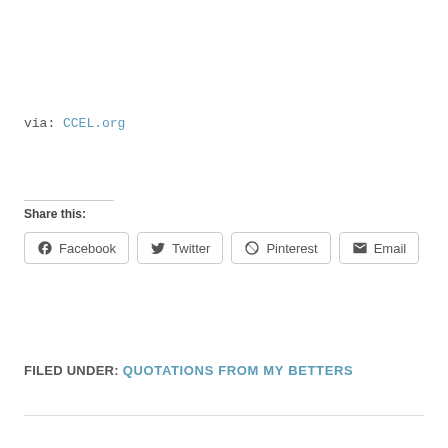via: CCEL.org
Share this:
Facebook Twitter Pinterest Email
FILED UNDER: QUOTATIONS FROM MY BETTERS